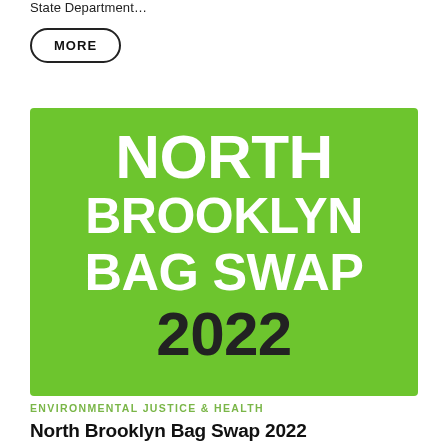State Department…
MORE
[Figure (illustration): Green promotional banner for North Brooklyn Bag Swap 2022 event, with large white bold text reading NORTH BROOKLYN BAG SWAP and large dark text 2022 at the bottom.]
ENVIRONMENTAL JUSTICE & HEALTH
North Brooklyn Bag Swap 2022